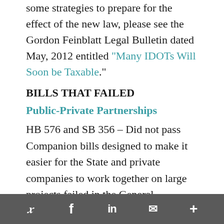some strategies to prepare for the effect of the new law, please see the Gordon Feinblatt Legal Bulletin dated May, 2012 entitled “Many IDOTs Will Soon be Taxable.”
BILLS THAT FAILED
Public-Private Partnerships
HB 576 and SB 356 – Did not pass Companion bills designed to make it easier for the State and private companies to work together on large projects failed in the General Assembly
y  f  in  ✉  +